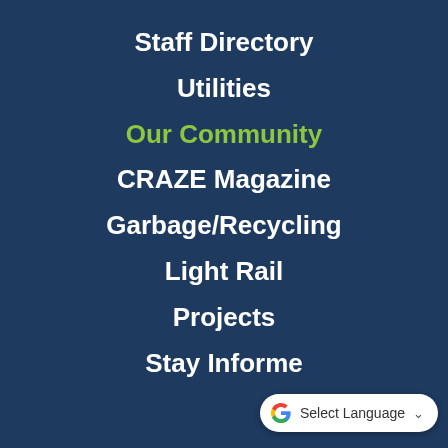Staff Directory
Utilities
Our Community
CRAZE Magazine
Garbage/Recycling
Light Rail
Projects
Stay Informed
[Figure (screenshot): Google Translate widget showing 'Select Language' with dropdown arrow]